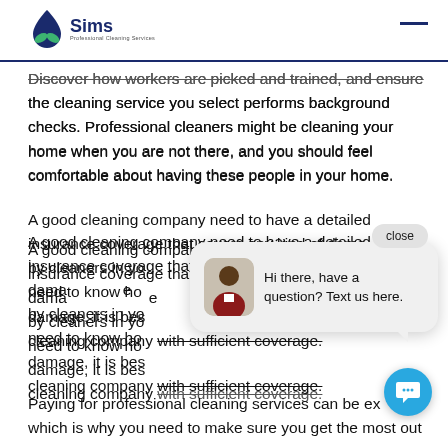Sims
Discover how workers are picked and trained, and ensure the cleaning service you select performs background checks. Professional cleaners might be cleaning your home when you are not there, and you should feel comfortable about having these people in your home.
A good cleaning company need to have a detailed insurance coverage that covers any kind of damage by cleaners in your home. You also need to know how the company handles claims for damage, it is best to hire a reputable cleaning company with sufficient coverage.
[Figure (screenshot): Chat popup widget with avatar of a man, message 'Hi there, have a question? Text us here.' and a 'close' button, plus a blue circular chat button]
Paying for professional cleaning services can be expensive, which is why you need to make sure you get the most out